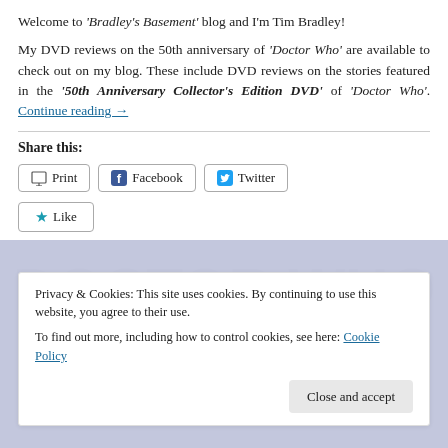Welcome to 'Bradley's Basement' blog and I'm Tim Bradley!
My DVD reviews on the 50th anniversary of 'Doctor Who' are available to check out on my blog. These include DVD reviews on the stories featured in the '50th Anniversary Collector's Edition DVD' of 'Doctor Who'. Continue reading →
Share this:
Print
Facebook
Twitter
Like
Privacy & Cookies: This site uses cookies. By continuing to use this website, you agree to their use.
To find out more, including how to control cookies, see here: Cookie Policy
Close and accept